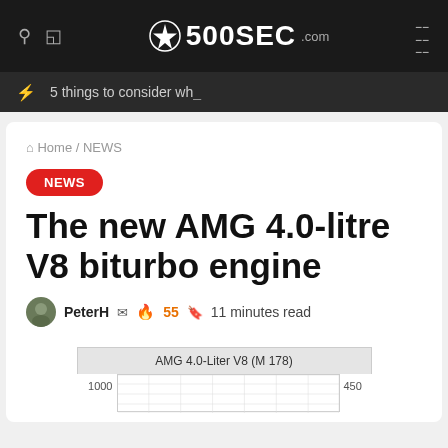500SEC.com
5 things to consider wh_
Home / NEWS
NEWS
The new AMG 4.0-litre V8 biturbo engine
PeterH  55  11 minutes read
[Figure (continuous-plot): Partial view of a performance chart for AMG 4.0-Liter V8 (M 178) engine, showing gridlines with y-axis labels 1000 on left and 450 on right. Chart is cropped at bottom of page.]